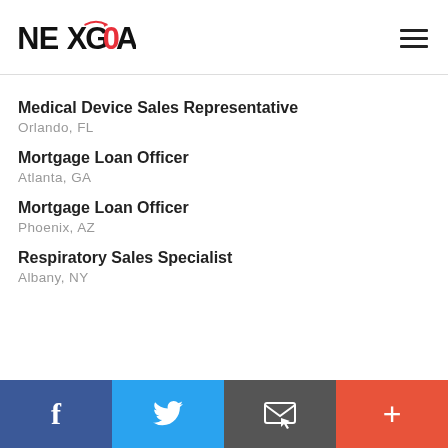NexGoal
Medical Device Sales Representative
Orlando, FL
Mortgage Loan Officer
Atlanta, GA
Mortgage Loan Officer
Phoenix, AZ
Respiratory Sales Specialist
Albany, NY
f | Twitter | Email | +